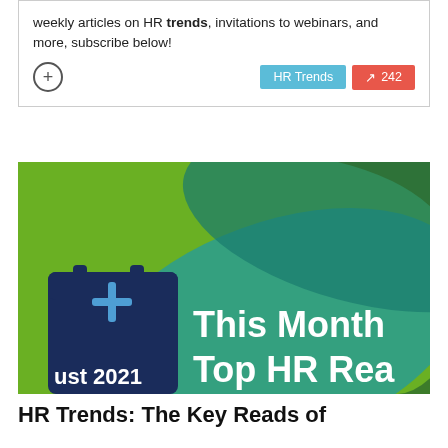weekly articles on HR trends, invitations to webinars, and more, subscribe below!
[Figure (illustration): Green background promotional image with teal and dark green swoosh shapes. A dark navy calendar icon on the left side with a plus symbol. Text reads 'This Month' and 'Top HR Rea' (partially cropped) in white bold font, with 'ust 2021' visible in white on the calendar icon.]
HR Trends: The Key Reads of